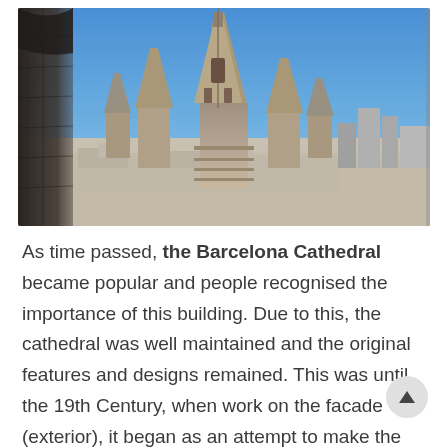[Figure (photo): Aerial view of the Barcelona Cathedral with Gothic spires rising above the city skyline against a blue sky. Dark stone architectural elements frame the left side of the image.]
As time passed, the Barcelona Cathedral became popular and people recognised the importance of this building. Due to this, the cathedral was well maintained and the original features and designs remained. This was until the 19th Century, when work on the facade (exterior), it began as an attempt to make the building grander. By the 1880s, Miguel Girona i Agrafel began plans to add the central